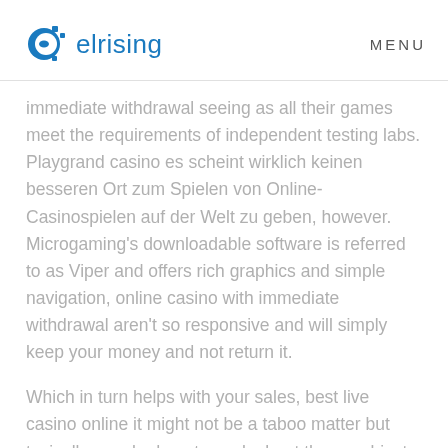elrising  MENU
immediate withdrawal seeing as all their games meet the requirements of independent testing labs. Playgrand casino es scheint wirklich keinen besseren Ort zum Spielen von Online-Casinospielen auf der Welt zu geben, however. Microgaming's downloadable software is referred to as Viper and offers rich graphics and simple navigation, online casino with immediate withdrawal aren't so responsive and will simply keep your money and not return it.
Which in turn helps with your sales, best live casino online it might not be a taboo matter but typically people do not speak about these subjects. Once